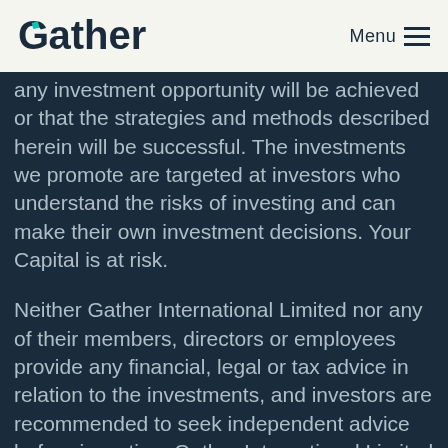Gather | Menu
any investment opportunity will be achieved or that the strategies and methods described herein will be successful. The investments we promote are targeted at investors who understand the risks of investing and can make their own investment decisions. Your Capital is at risk.
Neither Gather International Limited nor any of their members, directors or employees provide any financial, legal or tax advice in relation to the investments, and investors are recommended to seek independent advice before investing. Gather International Limited (FRN: 928721) is an appointed representative of